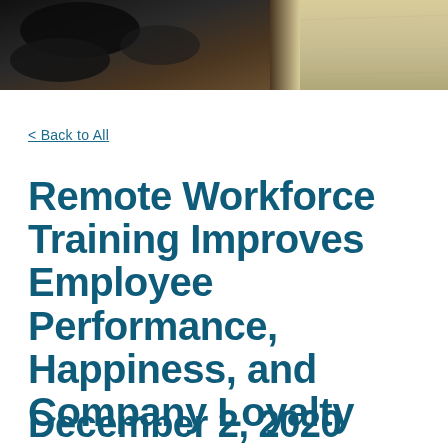[Figure (photo): Top banner photo showing dark objects (possibly a person or equipment) on the left and a beige/tan surface on the right]
< Back to All
Remote Workforce Training Improves Employee Performance, Happiness, and Company Loyalty
December 2, 2020